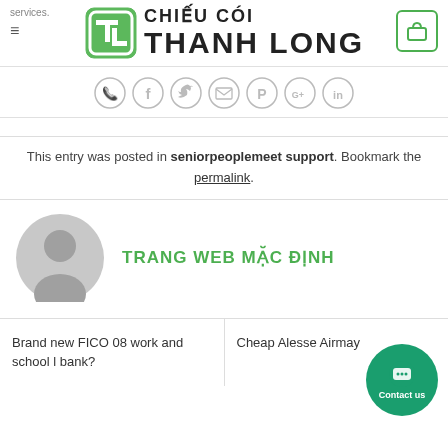services. CHIẾU CÓI THANH LONG
[Figure (logo): Thanh Long logo with green TL monogram icon]
[Figure (infographic): Row of social media icons: phone, facebook, twitter, email, pinterest, google+, linkedin]
This entry was posted in seniorpeoplemeet support. Bookmark the permalink.
TRANG WEB MẶC ĐỊNH
Brand new FICO 08 work and school l bank?
Cheap Alesse Airma y